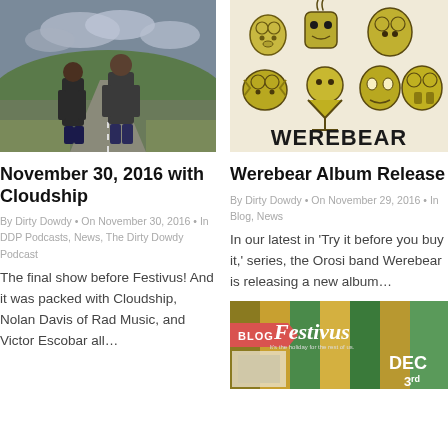[Figure (photo): Two men standing on a rural road with hills and cloudy sky in background]
[Figure (illustration): Werebear album art with cartoon bear-like monster characters in yellow/olive color and bold WEREBEAR text]
November 30, 2016 with Cloudship
Werebear Album Release
By Dirty Dowdy • On November 30, 2016 • In DDP Podcasts, News, The Dirty Dowdy Podcast
By Dirty Dowdy • On November 29, 2016 • In Blog, News
The final show before Festivus!  And it was packed with Cloudship, Nolan Davis of Rad Music, and Victor Escobar all…
In our latest in 'Try it before you buy it,' series, the Orosi band Werebear is releasing a new album…
[Figure (photo): Partial view of Festivus event flyer with BLOG badge, colorful striped background and Festivus text with DEC date]